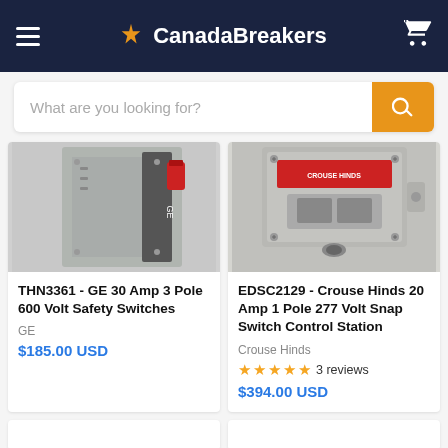CanadaBreakers
What are you looking for?
[Figure (photo): GE 30 Amp 3 Pole 600 Volt Safety Switch panel product photo]
THN3361 - GE 30 Amp 3 Pole 600 Volt Safety Switches
GE
$185.00 USD
[Figure (photo): Crouse Hinds 20 Amp 1 Pole 277 Volt Snap Switch Control Station product photo]
EDSC2129 - Crouse Hinds 20 Amp 1 Pole 277 Volt Snap Switch Control Station
Crouse Hinds
3 reviews
$394.00 USD